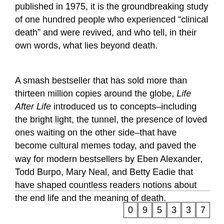published in 1975, it is the groundbreaking study of one hundred people who experienced “clinical death” and were revived, and who tell, in their own words, what lies beyond death.
A smash bestseller that has sold more than thirteen million copies around the globe, Life After Life introduced us to concepts–including the bright light, the tunnel, the presence of loved ones waiting on the other side–that have become cultural memes today, and paved the way for modern bestsellers by Eben Alexander, Todd Burpo, Mary Neal, and Betty Eadie that have shaped countless readers notions about the end life and the meaning of death.
09533 7